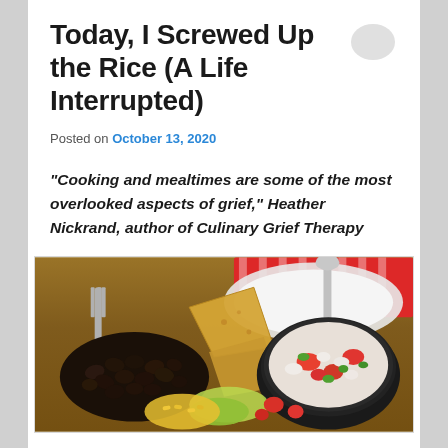Today, I Screwed Up the Rice (A Life Interrupted)
Posted on October 13, 2020
“Cooking and mealtimes are some of the most overlooked aspects of grief,” Heather Nickrand, author of Culinary Grief Therapy
[Figure (photo): A plate of Mexican food including black beans, tortilla chips, fresh salsa (pico de gallo) in a black bowl, lettuce, tomatoes, and yellow rice, with a fork and red striped napkin in the background.]